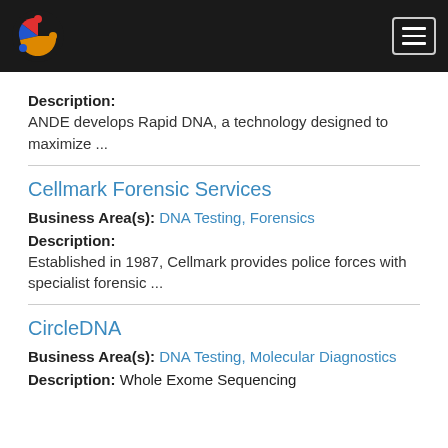[Logo] [Hamburger menu]
Description:
ANDE develops Rapid DNA, a technology designed to maximize ...
Cellmark Forensic Services
Business Area(s): DNA Testing, Forensics
Description:
Established in 1987, Cellmark provides police forces with specialist forensic ...
CircleDNA
Business Area(s): DNA Testing, Molecular Diagnostics
Description: Whole Exome Sequencing